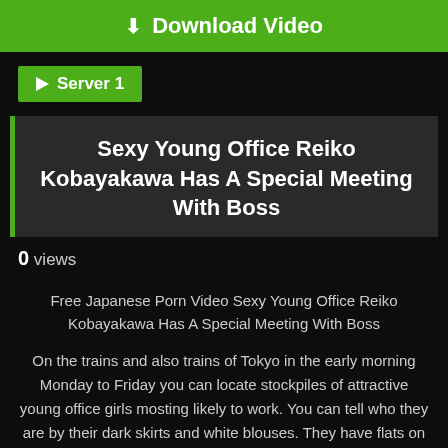Download Video
Server 1
Sexy Young Office Reiko Kobayakawa Has A Special Meeting With Boss
0 views
Free Japanese Porn Video Sexy Young Office Reiko Kobayakawa Has A Special Meeting With Boss
On the trains and also trains of Tokyo in the early morning Monday to Friday you can locate stockpiles of attractive young office girls mosting likely to work. You can tell who they are by their dark skirts and white blouses. They have flats on or